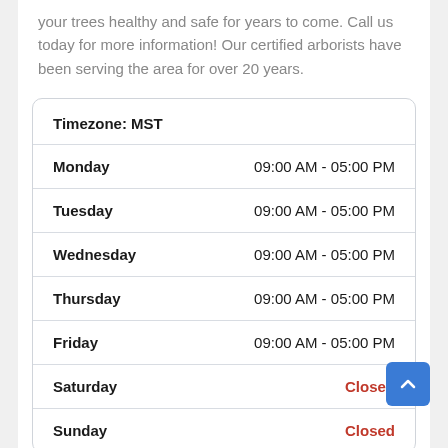your trees healthy and safe for years to come. Call us today for more information! Our certified arborists have been serving the area for over 20 years.
| Day | Hours |
| --- | --- |
| Timezone: MST |  |
| Monday | 09:00 AM - 05:00 PM |
| Tuesday | 09:00 AM - 05:00 PM |
| Wednesday | 09:00 AM - 05:00 PM |
| Thursday | 09:00 AM - 05:00 PM |
| Friday | 09:00 AM - 05:00 PM |
| Saturday | Closed |
| Sunday | Closed |